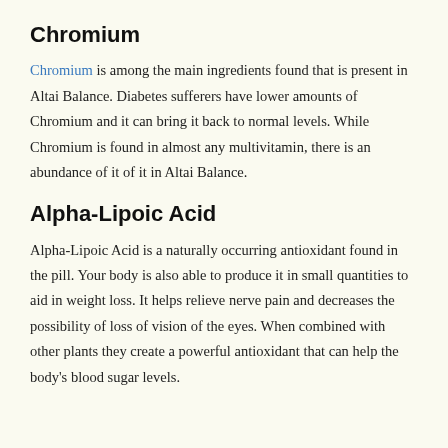Chromium
Chromium is among the main ingredients found that is present in Altai Balance. Diabetes sufferers have lower amounts of Chromium and it can bring it back to normal levels. While Chromium is found in almost any multivitamin, there is an abundance of it of it in Altai Balance.
Alpha-Lipoic Acid
Alpha-Lipoic Acid is a naturally occurring antioxidant found in the pill. Your body is also able to produce it in small quantities to aid in weight loss. It helps relieve nerve pain and decreases the possibility of loss of vision of the eyes. When combined with other plants they create a powerful antioxidant that can help the body's blood sugar levels.